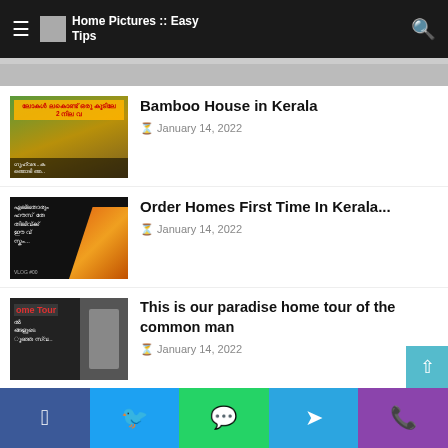Home Pictures :: Easy Tips
[Figure (photo): Thumbnail for Bamboo House in Kerala article]
Bamboo House in Kerala
January 14, 2022
[Figure (photo): Thumbnail for Order Homes First Time In Kerala article]
Order Homes First Time In Kerala...
January 14, 2022
[Figure (photo): Thumbnail for paradise home tour article]
This is our paradise home tour of the common man
January 14, 2022
[Figure (photo): Thumbnail for House wiring article - Original VS Duplicate wires]
House wiring
January 13, 2022
Facebook | Twitter | WhatsApp | Telegram | Phone